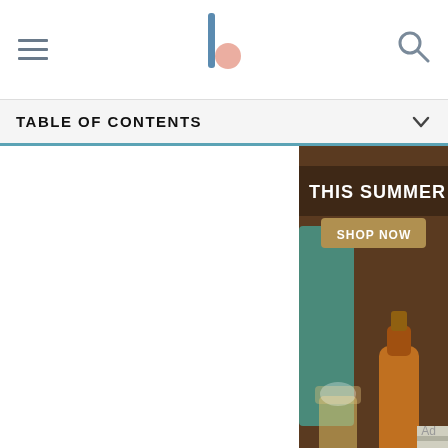TABLE OF CONTENTS
[Figure (photo): Crown Royal Canadian Whisky advertisement. Dark background with summer drinks scene. Text reads: THIS SUMMER SHOP NOW. Shows a whisky bottle and cocktail glass with ice. Fine print: CROWN ROYAL BLENDED CANADIAN WHISKY 40% ALC/VOL. THE CROWN ROYAL COMPANY, NEW YORK, NY]
Advertisement
There aren't many differences between using a blogging platform or website platform for your blog.
Ad